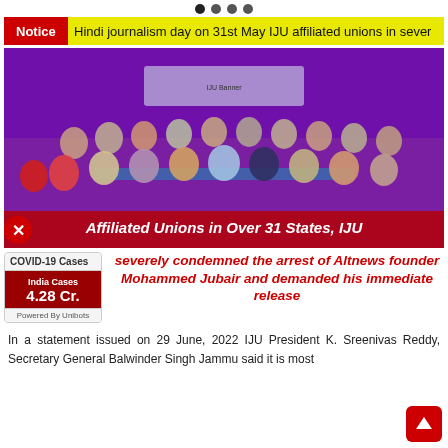• • • •
Notice: Hindi journalism day on 31st May IJU affiliated unions in sever
[Figure (photo): Group photo of journalists at an IJU affiliated event, seated and standing in rows in a hall with purple/red lighting and a banner in the background.]
Affiliated Unions in Over 31 States, IJU
severely condemned the arrest of Altnews founder Mohammed Jubair and demanded his immediate release
COVID-19 Cases
India Cases
4.28 Cr.
Powered By Unibots
In a statement issued on 29 June, 2022 IJU President K. Sreenivas Reddy, Secretary General Balwinder Singh Jammu said it is most